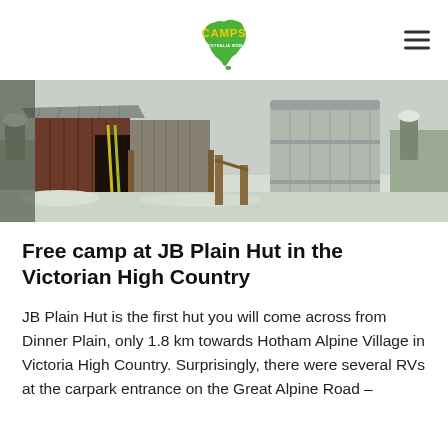CAMPS AUSTRALIA WIDE
[Figure (photo): Photograph of old corrugated iron hut and large metal silo/tank in snowy alpine setting, winter scene at JB Plain Hut in Victorian High Country]
Free camp at JB Plain Hut in the Victorian High Country
JB Plain Hut is the first hut you will come across from Dinner Plain, only 1.8 km towards Hotham Alpine Village in Victoria High Country. Surprisingly, there were several RVs at the carpark entrance on the Great Alpine Road –